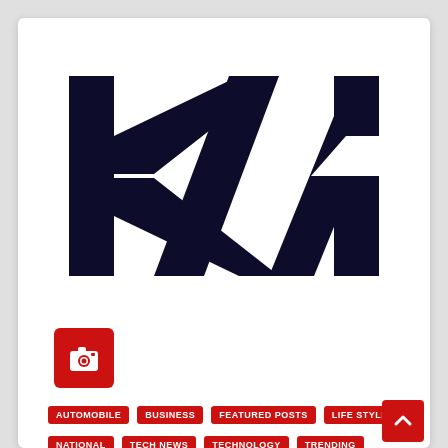[Figure (logo): KIA logo in dark navy/black, modern angular lettering on white background]
[Figure (other): Red square button with white camera icon]
AUTOMOBILE | BUSINESS | FEATURED POSTS | LIFE STYLE
NATIONAL | TECH NEWS | TECHNOLOGY | TRENDING